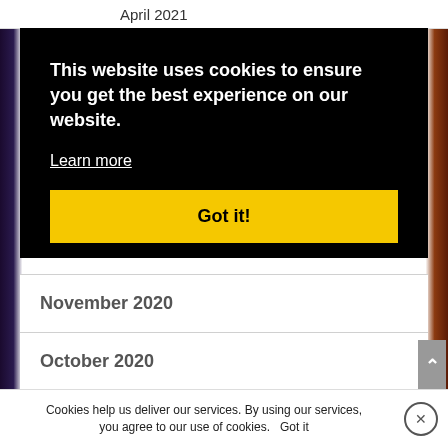April 2021
This website uses cookies to ensure you get the best experience on our website.
Learn more
Got it!
November 2020
October 2020
September 2020
August 2020
Cookies help us deliver our services. By using our services, you agree to our use of cookies.  Got it